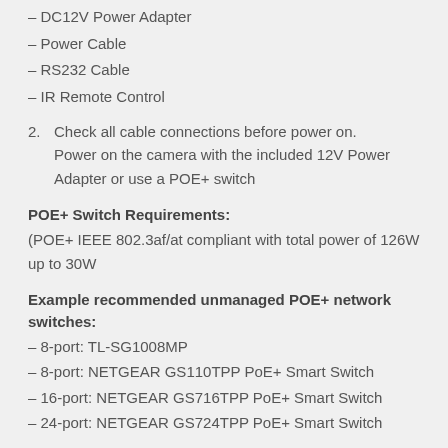– DC12V Power Adapter
– Power Cable
– RS232 Cable
– IR Remote Control
2. Check all cable connections before power on. Power on the camera with the included 12V Power Adapter or use a POE+ switch
POE+ Switch Requirements:
(POE+ IEEE 802.3af/at compliant with total power of 126W up to 30W
Example recommended unmanaged POE+ network switches:
– 8-port: TL-SG1008MP
– 8-port: NETGEAR GS110TPP PoE+ Smart Switch
– 16-port: NETGEAR GS716TPP PoE+ Smart Switch
– 24-port: NETGEAR GS724TPP PoE+ Smart Switch